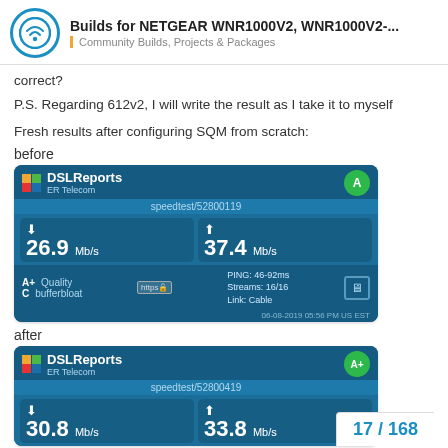Builds for NETGEAR WNR1000V2, WNR1000V2-... Community Builds, Projects & Packages
correct?
P.S. Regarding 612v2, I will write the result as I take it to myself
Fresh results after configuring SQM from scratch:
before
[Figure (screenshot): DSLReports speed test result showing grade A, 26.9 Mb/s download, 37.4 Mb/s upload, A+ Quality, C bufferbloat, PING: 46-92ms, Streams: 16/16, Link: Cable, speedtest/52800119, ER Telecom, 06-08-2019 05:56 PM US EST]
after
[Figure (screenshot): DSLReports speed test result showing grade A+, 30.8 Mb/s download, 33.8 Mb/s upload, speedtest/52800419, ER Telecom]
17 / 168